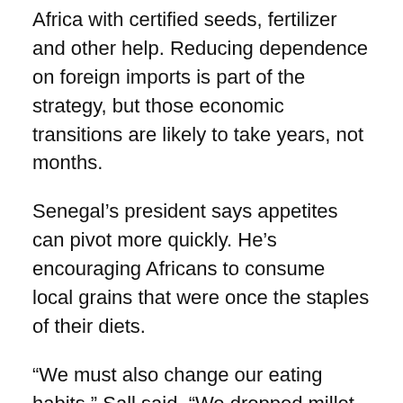Africa with certified seeds, fertilizer and other help. Reducing dependence on foreign imports is part of the strategy, but those economic transitions are likely to take years, not months.
Senegal’s president says appetites can pivot more quickly. He’s encouraging Africans to consume local grains that were once the staples of their diets.
“We must also change our eating habits,” Sall said. “We dropped millet and started importing rice from Asia. Now we only know how to eat rice and we don’t produce enough. We only know how to eat bread. We do not produce wheat.”